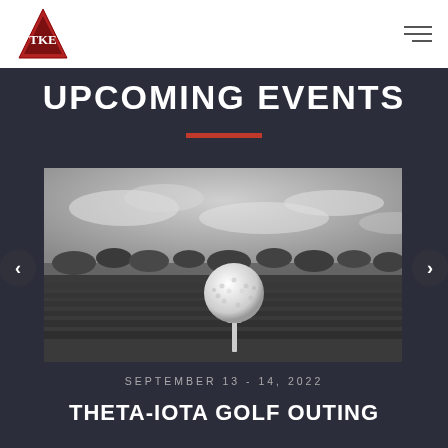TKE navigation header with logo and hamburger menu
UPCOMING EVENTS
[Figure (photo): Black and white photograph of a golf ball on a tee in a grassy field with a cloudy sky in the background. Prev and next carousel navigation arrows are visible on the left and right sides.]
SEPTEMBER 13 - 14, 2022
THETA-IOTA GOLF OUTING